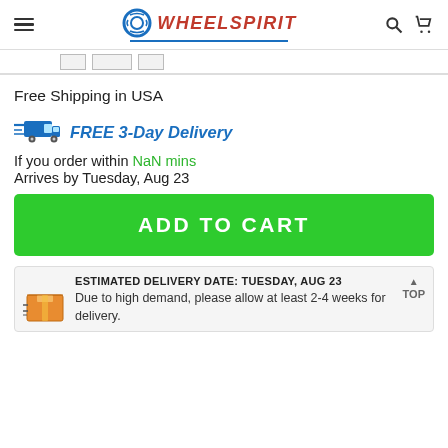WheelSpirit — navigation header with hamburger menu, logo, search and cart icons
[Figure (screenshot): Partial row of input/button controls cropped at top]
Free Shipping in USA
[Figure (illustration): Blue delivery truck icon with speed lines]
FREE 3-Day Delivery
If you order within NaN mins
Arrives by Tuesday, Aug 23
ADD TO CART
ESTIMATED DELIVERY DATE: TUESDAY, AUG 23
Due to high demand, please allow at least 2-4 weeks for delivery.